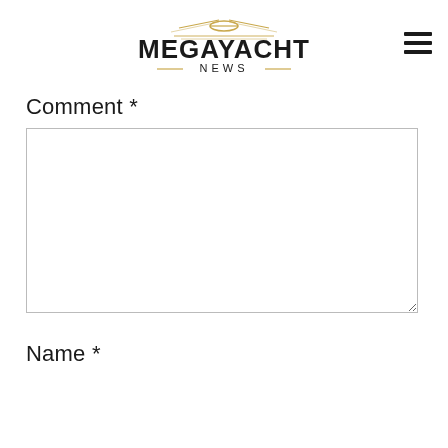MEGAYACHT NEWS
Comment *
[Figure (other): Empty comment text area input field with resize handle]
Name *